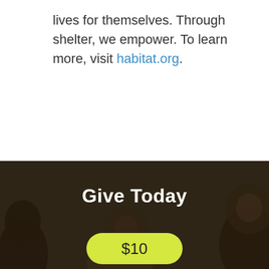lives for themselves. Through shelter, we empower. To learn more, visit habitat.org.
[Figure (photo): Dark-toned background photo showing people (a family/group), used as backdrop for the 'Give Today' donation section]
Give Today
$10